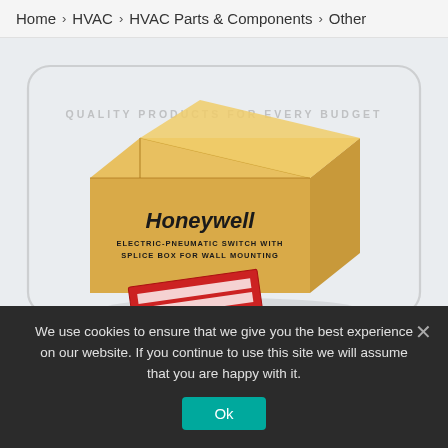Home > HVAC > HVAC Parts & Components > Other
[Figure (photo): A cardboard Honeywell box labeled 'ELECTRIC-PNEUMATIC SWITCH WITH SPLICE BOX FOR WALL MOUNTING' on a light gray background, with a red label card partially visible in front. Watermark text 'QUALITY PRODUCTS FOR EVERY BUDGET' and 'MRO PARTS' overlaid on the image along with a rounded-rectangle border watermark.]
We use cookies to ensure that we give you the best experience on our website. If you continue to use this site we will assume that you are happy with it.